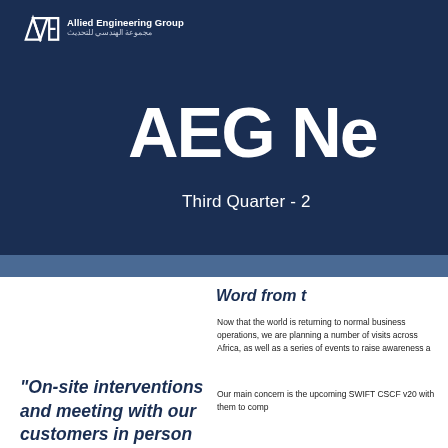Allied Engineering Group
AEG Ne
Third Quarter - 2
Word from t
Now that the world is returning to normal business operations, we are planning a number of visits across Africa, as well as a series of events to raise awareness a
Our main concern is the upcoming SWIFT CSCF v20 with them to comp
"On-site interventions and meeting with our customers in person